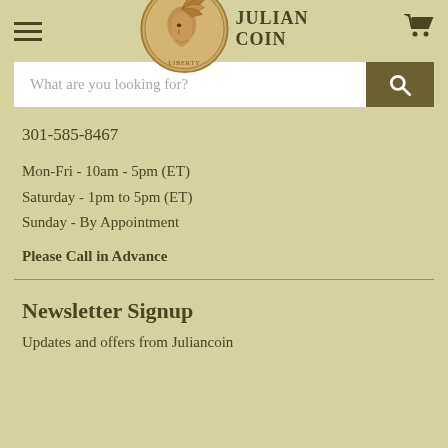[Figure (logo): Julian Coin logo with Indian Head penny coin and text JULIAN COIN]
What are you looking for?
301-585-8467
Mon-Fri - 10am - 5pm (ET)
Saturday - 1pm to 5pm (ET)
Sunday - By Appointment
Please Call in Advance
Newsletter Signup
Updates and offers from Juliancoin